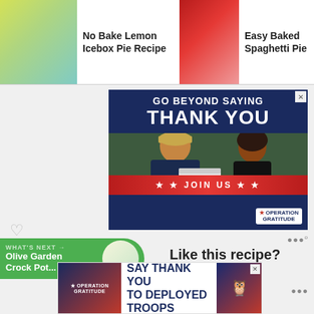No Bake Lemon Icebox Pie Recipe | Easy Baked Spaghetti Pie | Substitute ... Spice
[Figure (screenshot): Operation Gratitude advertisement: GO BEYOND SAYING THANK YOU, JOIN US, with a military service member and civilian exchanging a care package box]
[Figure (screenshot): What's Next arrow - Olive Garden Crock Pot...]
Like this recipe?
Don't forget to give it a ⭐⭐⭐⭐⭐ star
[Figure (screenshot): Operation Gratitude bottom banner ad: SAY THANK YOU TO DEPLOYED TROOPS]